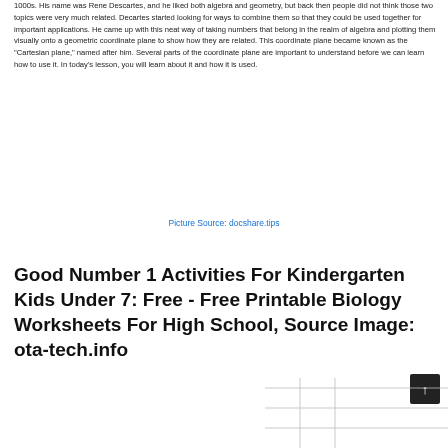1000s. His name was Rene Descartes, and he liked both algebra and geometry, but back then people did not think those two topics were very much related. Decartes started looking for ways to combine them so that they could be used together for important applications. He came up with this neat way of taking numbers that belong in the realm of algebra and plotting them visually onto a geometric coordinate plane to show how they are related. This coordinate plane became known as the "Cartesian plane," named after him. Several parts of the coordinate plane are important to understand before we can learn how to use it. In today's lesson, you will learn about it and how it is used.
Picture Source: docshare.tips
Good Number 1 Activities For Kindergarten Kids Under 7: Free - Free Printable Biology Worksheets For High School, Source Image: ota-tech.info
[Figure (other): Partial view of a coordinate plane chart at the bottom of the page]